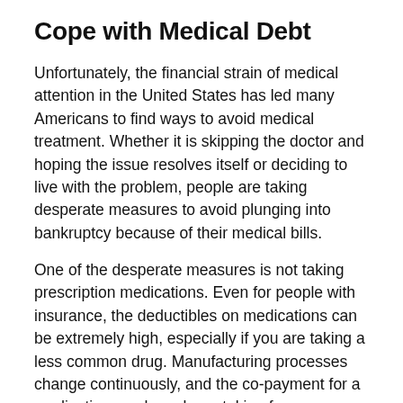Cope with Medical Debt
Unfortunately, the financial strain of medical attention in the United States has led many Americans to find ways to avoid medical treatment. Whether it is skipping the doctor and hoping the issue resolves itself or deciding to live with the problem, people are taking desperate measures to avoid plunging into bankruptcy because of their medical bills.
One of the desperate measures is not taking prescription medications. Even for people with insurance, the deductibles on medications can be extremely high, especially if you are taking a less common drug. Manufacturing processes change continuously, and the co-payment for a medication you have been taking for years could suddenly rise exponentially.